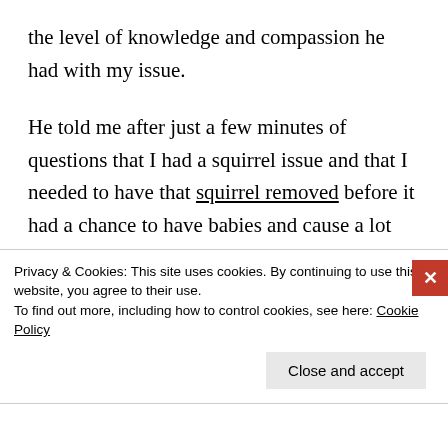the level of knowledge and compassion he had with my issue.
He told me after just a few minutes of questions that I had a squirrel issue and that I needed to have that squirrel removed before it had a chance to have babies and cause a lot more nights of lost sleep. I didn't hesitate to
Privacy & Cookies: This site uses cookies. By continuing to use this website, you agree to their use.
To find out more, including how to control cookies, see here: Cookie Policy